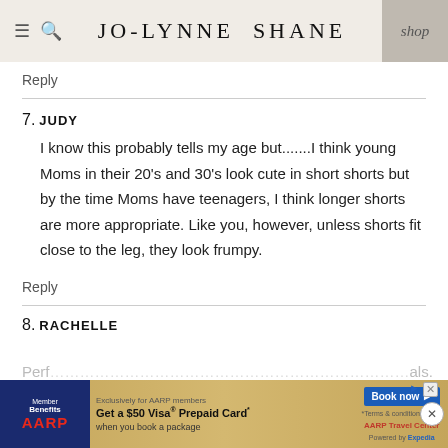JO-LYNNE SHANE | shop
Reply
7. JUDY
I know this probably tells my age but.......I think young Moms in their 20’s and 30’s look cute in short shorts but by the time Moms have teenagers, I think longer shorts are more appropriate. Like you, however, unless shorts fit close to the leg, they look frumpy.
Reply
8. RACHELLE
[Figure (other): AARP advertisement banner: Get a $50 Visa Prepaid Card when you book a package. Book now button. AARP Travel Center powered by Expedia.]